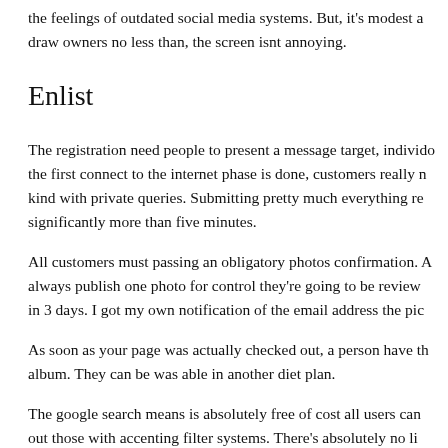the feelings of outdated social media systems. But, it's modest a draw owners no less than, the screen isnt annoying.
Enlist
The registration need people to present a message target, individo the first connect to the internet phase is done, customers really n kind with private queries. Submitting pretty much everything re significantly more than five minutes.
All customers must passing an obligatory photos confirmation. A always publish one photo for control they're going to be review in 3 days. I got my own notification of the email address the pic
As soon as your page was actually checked out, a person have th album. They can be was able in another diet plan.
The google search means is absolutely free of cost all users can out those with accenting filter systems. There's absolutely no li